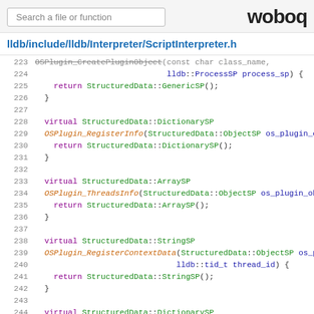Search a file or function | woboq
lldb/include/lldb/Interpreter/ScriptInterpreter.h
223  OSPlugin_CreatePluginObject(const char  class_name,
224                              lldb::ProcessSP process_sp) {
225    return StructuredData::GenericSP();
226  }
227
228  virtual StructuredData::DictionarySP
229  OSPlugin_RegisterInfo(StructuredData::ObjectSP os_plugin_ob...
230    return StructuredData::DictionarySP();
231  }
232
233  virtual StructuredData::ArraySP
234  OSPlugin_ThreadsInfo(StructuredData::ObjectSP os_plugin_obje...
235    return StructuredData::ArraySP();
236  }
237
238  virtual StructuredData::StringSP
239  OSPlugin_RegisterContextData(StructuredData::ObjectSP os_pl...
240                              lldb::tid_t thread_id) {
241    return StructuredData::StringSP();
242  }
243
244  virtual StructuredData::DictionarySP
245  OSPlugin_CreateThread(StructuredData::ObjectSP os_plugin_ob...
246                        lldb::tid_t tid, lldb::addr_t context...
247    return StructuredData::DictionarySP();
248  }
249